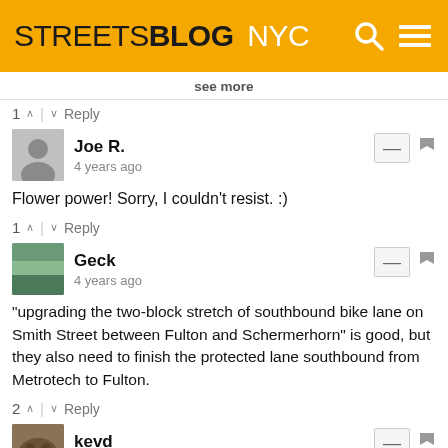STREETSBLOG NYC
see more
1 ^ | v Reply
Joe R.
4 years ago
Flower power! Sorry, I couldn't resist. :)
1 ^ | v Reply
Geck
4 years ago
"upgrading the two-block stretch of southbound bike lane on Smith Street between Fulton and Schermerhorn" is good, but they also need to finish the protected lane southbound from Metrotech to Fulton.
2 ^ | v Reply
kevd
4 years ago
there's always a cab in that lane just south of fulton.